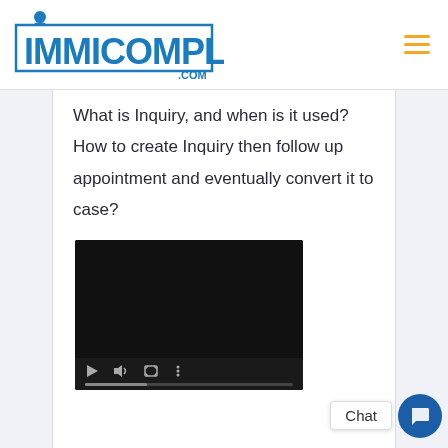[Figure (logo): ImmiCompliance.com logo — blue block text with a stylized figure icon on top of the letter I]
What is Inquiry, and when is it used?  How to create Inquiry then follow up appointment and eventually convert it to case?
[Figure (screenshot): Embedded video player with dark background, showing play, volume, fullscreen and more-options icons with a progress bar at the bottom]
Chat